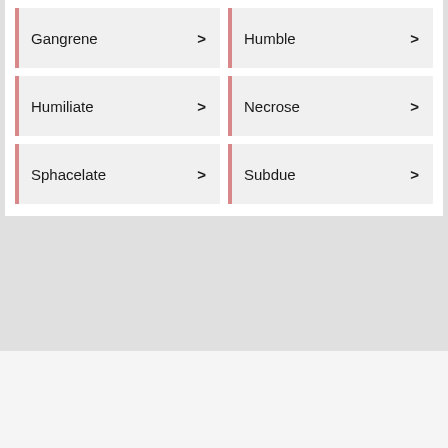Gangrene
Humble
Humiliate
Necrose
Sphacelate
Subdue